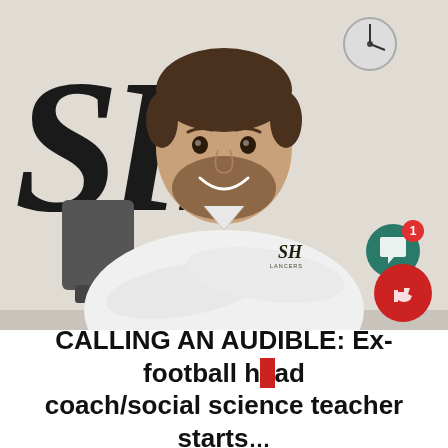[Figure (photo): A smiling man with short dark hair and a beard, wearing a white polo shirt with an SH Lancers logo, standing with arms crossed in front of a wall displaying large black 'SH' letters. A dark office chair is visible to the left.]
CALLING AN AUDIBLE: Ex-football head coach/social science teacher starts…